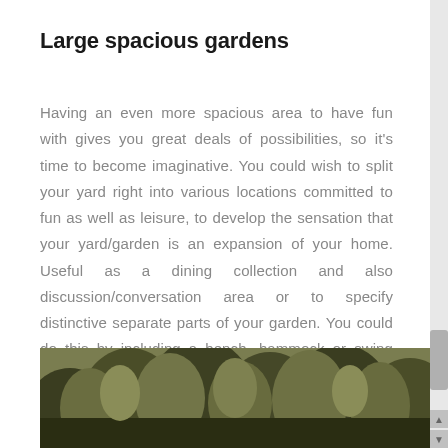Large spacious gardens
Having an even more spacious area to have fun with gives you great deals of possibilities, so it’s time to become imaginative. You could wish to split your yard right into various locations committed to fun as well as leisure, to develop the sensation that your yard/garden is an expansion of your home. Useful as a dining collection and also discussion/conversation area or to specify distinctive separate parts of your garden. You could do this by including a bench, hammock or swing collection for a place to kick back totally.
[Figure (photo): Photo of a garden with dense green and olive-toned trees and foliage, muted/desaturated tones.]